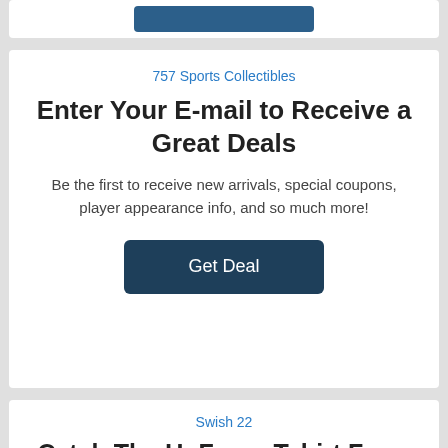[Figure (other): Partial top card showing a blue button at the top of the page]
757 Sports Collectibles
Enter Your E-mail to Receive a Great Deals
Be the first to receive new arrivals, special coupons, player appearance info, and so much more!
Get Deal
Swish 22
Catch The UnForce Tshirt From